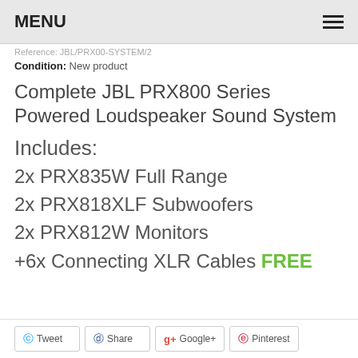MENU
Reference: JBL/PRX00-SYSTEM/2
Condition: New product
Complete JBL PRX800 Series Powered Loudspeaker Sound System
Includes:
2x PRX835W Full Range
2x PRX818XLF Subwoofers
2x PRX812W Monitors
+6x Connecting XLR Cables FREE
Tweet  Share  Google+  Pinterest